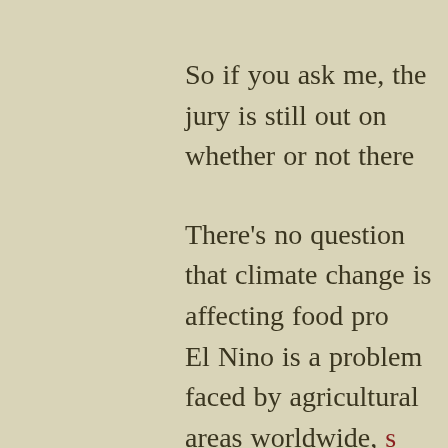So if you ask me, the jury is still out on whether or not there
There's no question that climate change is affecting food pro... El Nino is a problem faced by agricultural areas worldwide, ... there don't seem to be reports as of  yet about coffee planta... plantations are located in the cooler northern regions of the ... plantations in the south that have borne the worst of this we...
This makes me wonder: could the Philippines use the fears ... advantage, and bring more of its coffee to the world? I know... should cash in on widespread panic, but maybe it's a good t... market as an alternative source.
(Somewhat related: there are fears of a chocolate shortage ... warmer climate in the region, Central American farmers are ... coffee, so they're planting cacao trees instead. It's evidence... continues to thrive. So maybe non-coffee producing agricult...